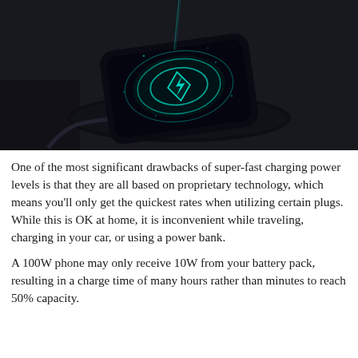[Figure (photo): A smartphone with a glowing cyan wireless charging animation on its screen, resting on a round wireless charging pad on a dark background. A cable is visible connected to the charger.]
One of the most significant drawbacks of super-fast charging power levels is that they are all based on proprietary technology, which means you'll only get the quickest rates when utilizing certain plugs. While this is OK at home, it is inconvenient while traveling, charging in your car, or using a power bank.
A 100W phone may only receive 10W from your battery pack, resulting in a charge time of many hours rather than minutes to reach 50% capacity.